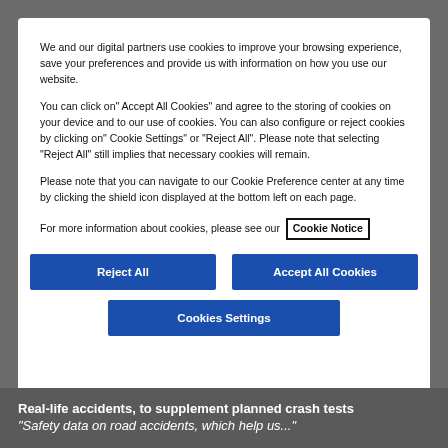We and our digital partners use cookies to improve your browsing experience, save your preferences and provide us with information on how you use our website.
You can click on" Accept All Cookies" and agree to the storing of cookies on your device and to our use of cookies. You can also configure or reject cookies by clicking on" Cookie Settings" or "Reject All". Please note that selecting "Reject All" still implies that necessary cookies will remain.
Please note that you can navigate to our Cookie Preference center at any time by clicking the shield icon displayed at the bottom left on each page.
For more information about cookies, please see our Cookie Notice
Reject All
Accept All Cookies
Cookies Settings
Real-life accidents, to supplement planned crash tests